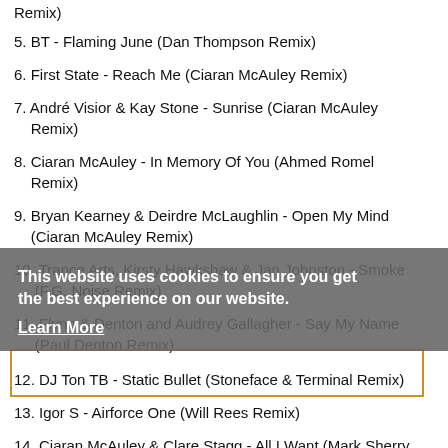Remix)
5. BT - Flaming June (Dan Thompson Remix)
6. First State - Reach Me (Ciaran McAuley Remix)
7. André Visior & Kay Stone - Sunrise (Ciaran McAuley Remix)
8. Ciaran McAuley - In Memory Of You (Ahmed Romel Remix)
9. Bryan Kearney & Deirdre McLaughlin - Open My Mind (Ciaran McAuley Remix)
10. Trance Arts, Kirsty Hawkshaw & Jan Johnston - Smoke (F.G. Noise Remix)
11. Flynn & Denton and Audrey Gallagher - Say My Name (Paul Denton Remix)
12. DJ Ton TB - Static Bullet (Stoneface & Terminal Remix)
13. Igor S - Airforce One (Will Rees Remix)
14. Ciaran McAuley & Clare Stagg - All I Want (Mark Sherry